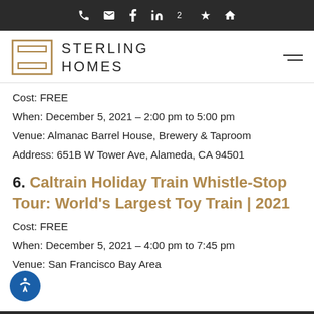Sterling Homes navigation bar with icons
[Figure (logo): Sterling Homes logo with geometric square icon and text STERLING HOMES]
Cost: FREE
When: December 5, 2021 – 2:00 pm to 5:00 pm
Venue: Almanac Barrel House, Brewery & Taproom
Address: 651B W Tower Ave, Alameda, CA 94501
6. Caltrain Holiday Train Whistle-Stop Tour: World's Largest Toy Train | 2021
Cost: FREE
When: December 5, 2021 – 4:00 pm to 7:45 pm
Venue: San Francisco Bay Area